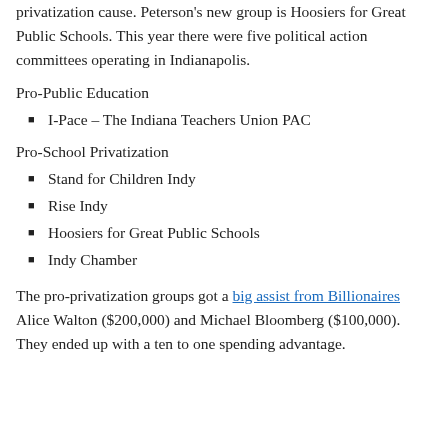privatization cause. Peterson's new group is Hoosiers for Great Public Schools. This year there were five political action committees operating in Indianapolis.
Pro-Public Education
I-Pace – The Indiana Teachers Union PAC
Pro-School Privatization
Stand for Children Indy
Rise Indy
Hoosiers for Great Public Schools
Indy Chamber
The pro-privatization groups got a big assist from Billionaires Alice Walton ($200,000) and Michael Bloomberg ($100,000). They ended up with a ten to one spending advantage.